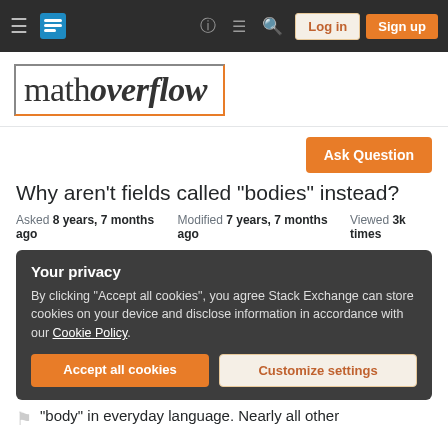MathOverflow navigation bar with Log in and Sign up buttons
[Figure (logo): MathOverflow logo with stylized text inside a gradient border box]
Ask Question
Why aren't fields called "bodies" instead?
Asked 8 years, 7 months ago   Modified 7 years, 7 months ago   Viewed 3k times
Your privacy
By clicking "Accept all cookies", you agree Stack Exchange can store cookies on your device and disclose information in accordance with our Cookie Policy.
Accept all cookies   Customize settings
"body" in everyday language. Nearly all other